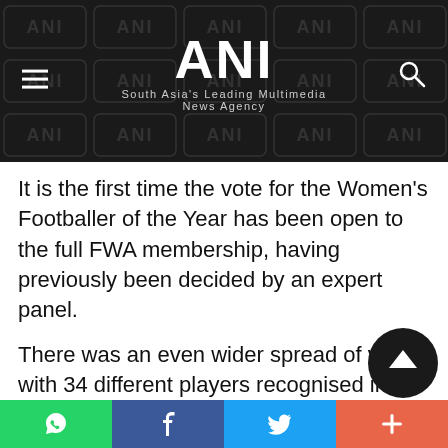ANI — South Asia's Leading Multimedia News Agency
It is the first time the vote for the Women's Footballer of the Year has been open to the full FWA membership, having previously been decided by an expert panel.
There was an even wider spread of votes, with 34 different players recognised in the poll with Chelsea and Manchester City dominating. Chelsea had 10 players represented while six